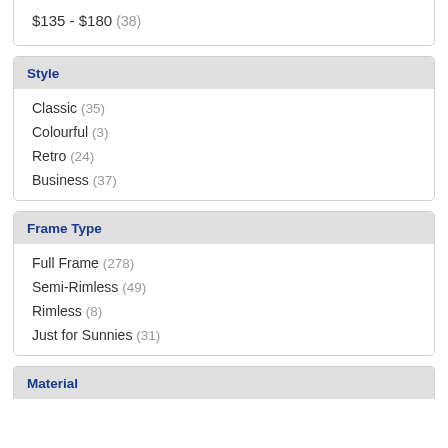$135 - $180 (38)
Style
Classic (35)
Colourful (3)
Retro (24)
Business (37)
Frame Type
Full Frame (278)
Semi-Rimless (49)
Rimless (8)
Just for Sunnies (31)
Material